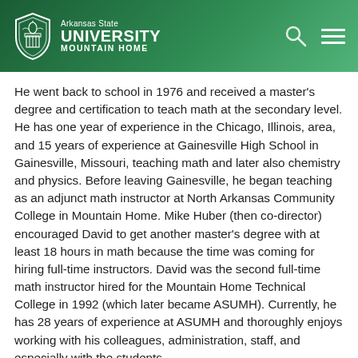Arkansas State University Mountain Home
He went back to school in 1976 and received a master's degree and certification to teach math at the secondary level. He has one year of experience in the Chicago, Illinois, area, and 15 years of experience at Gainesville High School in Gainesville, Missouri, teaching math and later also chemistry and physics. Before leaving Gainesville, he began teaching as an adjunct math instructor at North Arkansas Community College in Mountain Home. Mike Huber (then co-director) encouraged David to get another master's degree with at least 18 hours in math because the time was coming for hiring full-time instructors. David was the second full-time math instructor hired for the Mountain Home Technical College in 1992 (which later became ASUMH). Currently, he has 28 years of experience at ASUMH and thoroughly enjoys working with his colleagues, administration, staff, and especially with the students.
His wife says his retirement plan is to be carried out in a pine